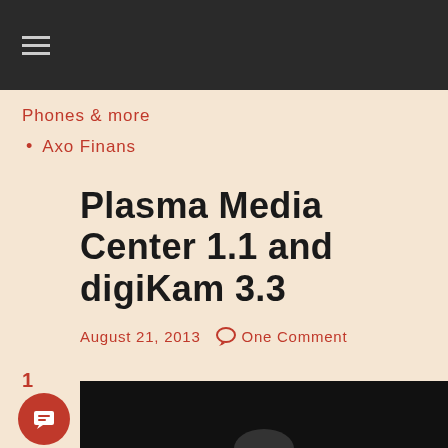≡
Phones & more
Axo Finans
Plasma Media Center 1.1 and digiKam 3.3
August 21, 2013   One Comment
1
[Figure (photo): Dark image partially visible at bottom of page]